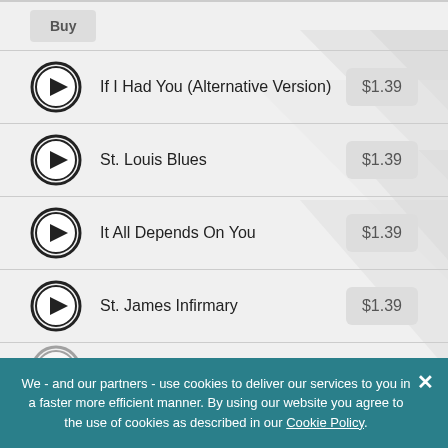Buy
If I Had You (Alternative Version) $1.39
St. Louis Blues $1.39
It All Depends On You $1.39
St. James Infirmary $1.39
Beau Koo Jack Blues (partial)
But Why... (partial)
We - and our partners - use cookies to deliver our services to you in a faster more efficient manner. By using our website you agree to the use of cookies as described in our Cookie Policy.